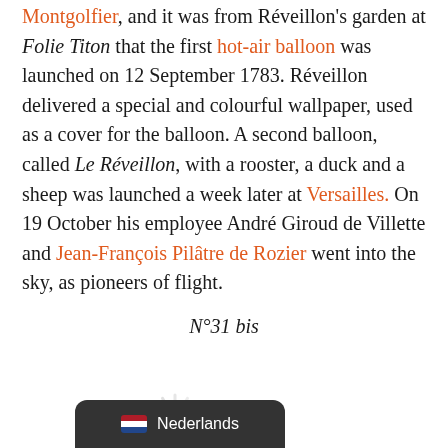Montgolfier, and it was from Réveillon's garden at Folie Titon that the first hot-air balloon was launched on 12 September 1783. Réveillon delivered a special and colourful wallpaper, used as a cover for the balloon. A second balloon, called Le Réveillon, with a rooster, a duck and a sheep was launched a week later at Versailles. On 19 October his employee André Giroud de Villette and Jean-François Pilâtre de Rozier went into the sky, as pioneers of flight.
N°31 bis
[Figure (other): Loading spinner icon]
Nederlands (language selector pill)